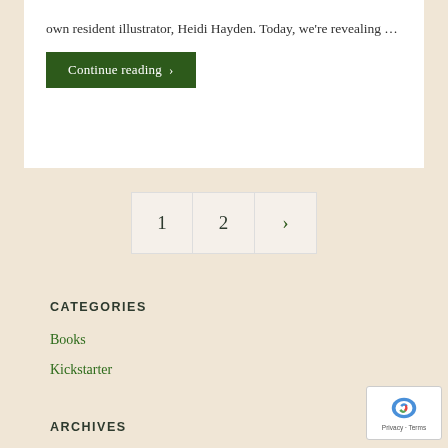own resident illustrator, Heidi Hayden. Today, we're revealing …
Continue reading ›
1   2   ›
CATEGORIES
Books
Kickstarter
ARCHIVES